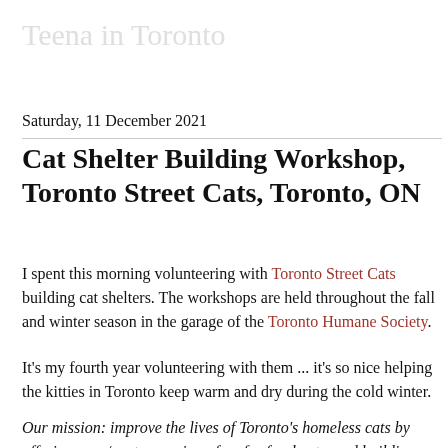Teena in Toronto
Saturday, 11 December 2021
Cat Shelter Building Workshop, Toronto Street Cats, Toronto, ON
I spent this morning volunteering with Toronto Street Cats building cat shelters.  The workshops are held throughout the fall and winter season in the garage of the Toronto Humane Society.
It's my fourth year volunteering with them ... it's so nice helping the kitties in Toronto keep warm and dry during the cold winter.
Our mission: improve the lives of Toronto's homeless cats by offering spay/neuter services, free for feral cats, and building overwintering shelters. We are also working to increase public awareness about Toronto's homeless cat population and the importance of spay/neuter and trap/neuter/return (TNR).